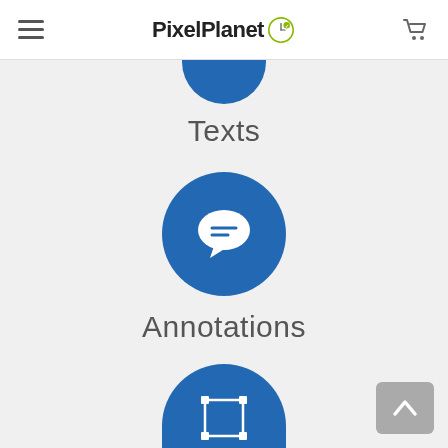PixelPlanet
[Figure (illustration): Blue circle partially visible at top, above Texts label]
Texts
[Figure (illustration): Blue circle with white speech bubble / chat icon]
Annotations
[Figure (illustration): Blue circle with white bounding box / transform icon, partially visible at bottom]